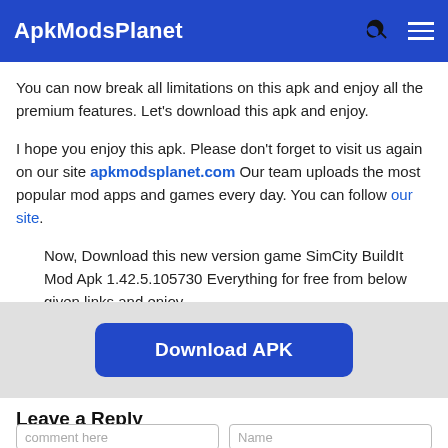ApkModsPlanet
You can now break all limitations on this apk and enjoy all the premium features. Let's download this apk and enjoy.
I hope you enjoy this apk. Please don't forget to visit us again on our site apkmodsplanet.com Our team uploads the most popular mod apps and games every day. You can follow our site.
Now, Download this new version game SimCity BuildIt Mod Apk 1.42.5.105730 Everything for free from below given links and enjoy.
[Figure (other): Download APK button]
Leave a Reply
Your email address will not be published. Required fields are marked *